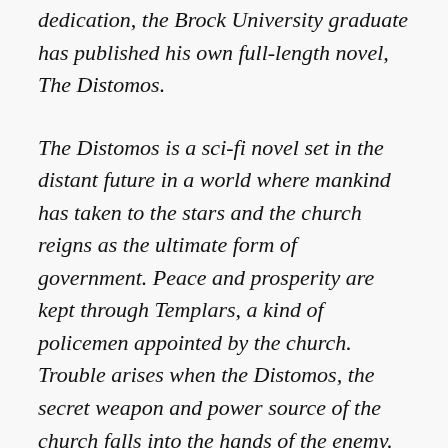dedication, the Brock University graduate has published his own full-length novel, The Distomos.
The Distomos is a sci-fi novel set in the distant future in a world where mankind has taken to the stars and the church reigns as the ultimate form of government. Peace and prosperity are kept through Templars, a kind of policemen appointed by the church. Trouble arises when the Distomos, the secret weapon and power source of the church falls into the hands of the enemy. With very little time